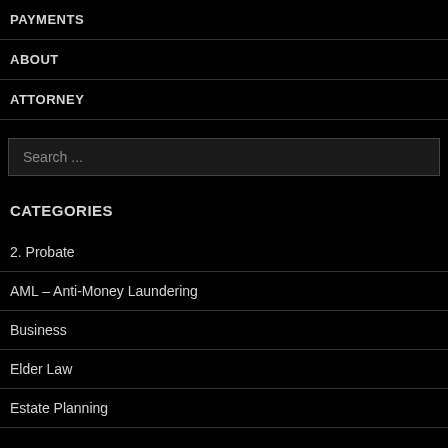PAYMENTS
ABOUT
ATTORNEY
CATEGORIES
2. Probate
AML – Anti-Money Laundering
Business
Elder Law
Estate Planning